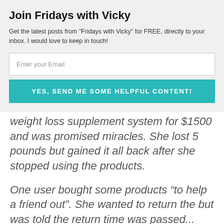Join Fridays with Vicky
Get the latest posts from "Fridays with Vicky" for FREE, directly to your inbox. I would love to keep in touch!
Enter your Email
YES, SEND ME SOME HELPFUL CONTENT!
weight loss supplement system for $1500 and was promised miracles. She lost 5 pounds but gained it all back after she stopped using the products.
One user bought some products “to help a friend out”. She wanted to return the but was told the return time was passed...